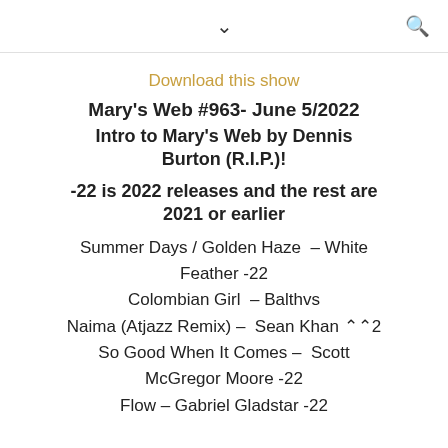▾  🔍
Download this show
Mary's Web #963- June 5/2022
Intro to Mary's Web by Dennis Burton (R.I.P.)!
-22 is 2022 releases and the rest are 2021 or earlier
Summer Days / Golden Haze  – White Feather -22
Colombian Girl  – Balthvs
Naima (Atjazz Remix) –  Sean Khan -22
So Good When It Comes –  Scott McGregor Moore -22
Flow – Gabriel Gladstar -22